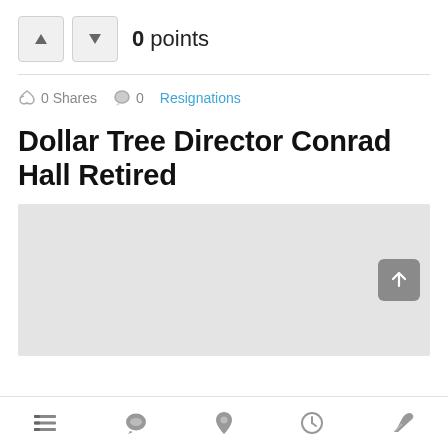0 points
0 Shares  0  Resignations
Dollar Tree Director Conrad Hall Retired
[Figure (other): Light grey image placeholder rectangle]
Bottom navigation bar with icons: list/menu, comment, pin, clock, edit/pen